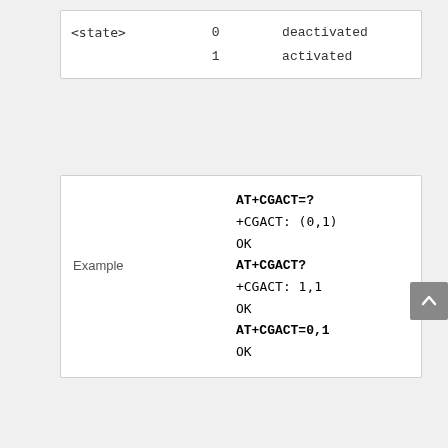| <state> | 0 | deactivated |
|  | 1 | activated |
|  | AT+CGACT=? |  |
|  | +CGACT: (0,1) |  |
|  | OK |  |
| Example | AT+CGACT? |  |
|  | +CGACT: 1,1 |  |
|  | OK |  |
|  | AT+CGACT=0,1 |  |
|  | OK |  |